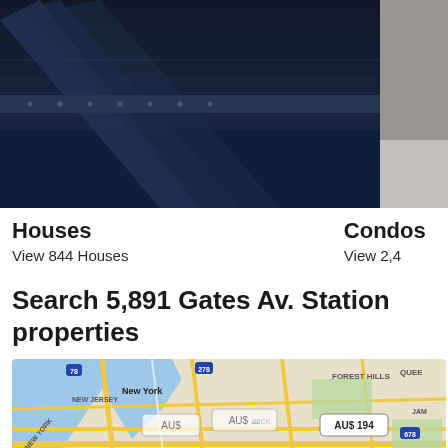[Figure (photo): Aerial/close-up photo of a dark blue bridge structure over water, occupying left portion of top photo row]
[Figure (photo): Partial photo of a light grey building or surface, clipped on right side]
Houses
View 844 Houses
Condos
View 2,4
Search 5,891 Gates Av. Station properties
[Figure (map): Map of New York City area showing Manhattan, New Jersey, Queens (QUEE), Forest Hills, East New York, JAM, Sunset Park, Wick area. Map markers show prices: AU$ 78, AU$ 194, AU$ 204, AU$ 165, and other AU$ markers. Dark tooltip overlay reads: Search for holiday rentals on map]